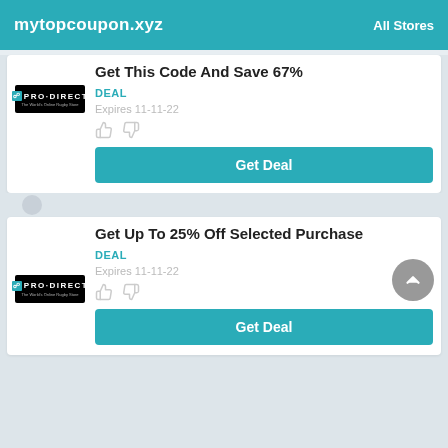mytopcoupon.xyz   All Stores
Get This Code And Save 67%
DEAL
Expires 11-11-22
Get Deal
Get Up To 25% Off Selected Purchase
DEAL
Expires 11-11-22
Get Deal